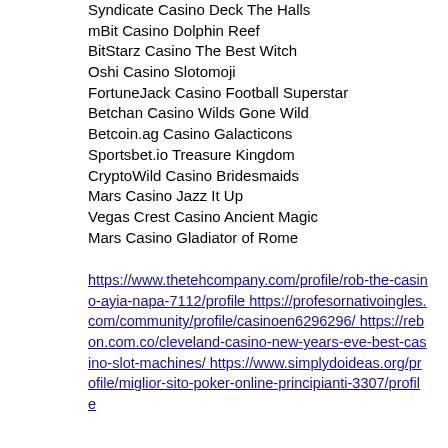Syndicate Casino Deck The Halls
mBit Casino Dolphin Reef
BitStarz Casino The Best Witch
Oshi Casino Slotomoji
FortuneJack Casino Football Superstar
Betchan Casino Wilds Gone Wild
Betcoin.ag Casino Galacticons
Sportsbet.io Treasure Kingdom
CryptoWild Casino Bridesmaids
Mars Casino Jazz It Up
Vegas Crest Casino Ancient Magic
Mars Casino Gladiator of Rome
https://www.thetehcompany.com/profile/rob-the-casino-ayia-napa-7112/profile https://profesornativoingles.com/community/profile/casinoen6296296/ https://rebon.com.co/cleveland-casino-new-years-eve-best-casino-slot-machines/ https://www.simplydoideas.org/profile/miglior-sito-poker-online-principianti-3307/profile